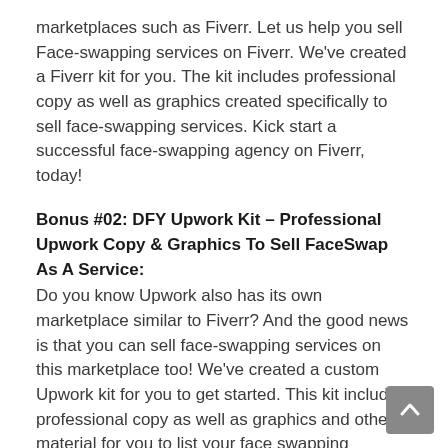marketplaces such as Fiverr. Let us help you sell Face-swapping services on Fiverr. We've created a Fiverr kit for you. The kit includes professional copy as well as graphics created specifically to sell face-swapping services. Kick start a successful face-swapping agency on Fiverr, today!
Bonus #02: DFY Upwork Kit – Professional Upwork Copy & Graphics To Sell FaceSwap As A Service:
Do you know Upwork also has its own marketplace similar to Fiverr? And the good news is that you can sell face-swapping services on this marketplace too! We've created a custom Upwork kit for you to get started. This kit includes professional copy as well as graphics and other material for you to list your face swapping service, today.
Bonus #03: FaceSwap Ultra HD Image Upgrade:
This is a special bonus. For a limited time, we will upgrade your FaceSwap output to an unparalleled Ultra HD...